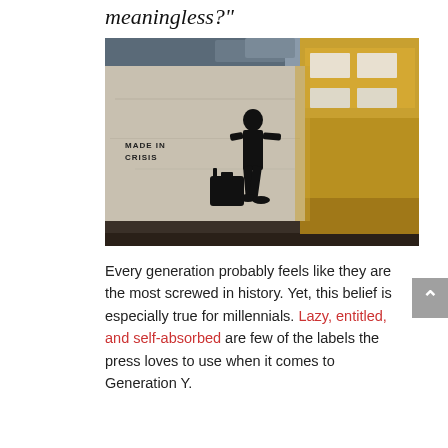meaningless?"
[Figure (photo): Street art on a concrete wall showing a black stencil silhouette of a person carrying luggage with the text 'MADE IN CRISIS', alongside a blurred yellow and white train passing by.]
Every generation probably feels like they are the most screwed in history. Yet, this belief is especially true for millennials. Lazy, entitled, and self-absorbed are few of the labels the press loves to use when it comes to Generation Y.